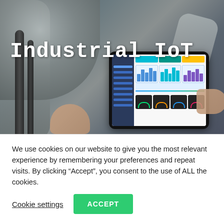[Figure (photo): Industrial IoT hero image showing a person holding a tablet with a dashboard/monitoring interface, set against a background of industrial robotic arms and machinery. The tablet shows charts, gauges, and a sidebar navigation. Title text 'Industrial IoT' overlaid in white monospace font.]
Industrial IoT
We use cookies on our website to give you the most relevant experience by remembering your preferences and repeat visits. By clicking “Accept”, you consent to the use of ALL the cookies.
Cookie settings
ACCEPT